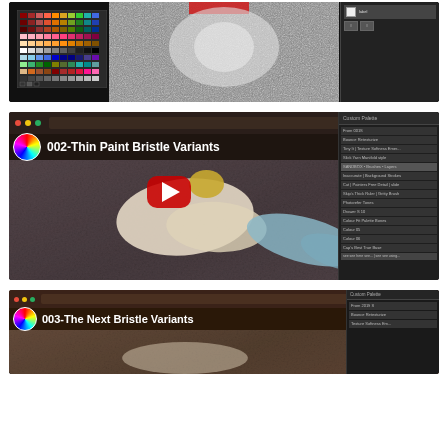[Figure (screenshot): Screenshot of a digital painting software interface showing a color palette grid on the left, a textured canvas with noise/brush strokes in the center, and a panel on the right with controls.]
[Figure (screenshot): YouTube video thumbnail titled '002-Thin Paint Bristle Variants' showing a Painter or digital art software with a purple/brown canvas with cream and blue paint strokes. A colorful avatar icon and YouTube play button overlay are visible. A custom palette panel is on the right side.]
[Figure (screenshot): YouTube video thumbnail titled '003-The Next Bristle Variants' showing a similar digital painting software interface with a brown/red canvas. A colorful avatar icon is visible on the left. Panels and toolbars are shown.]